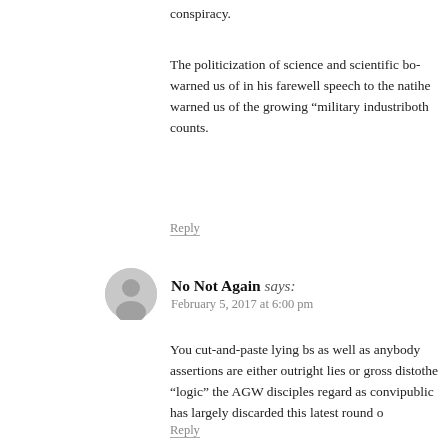conspiracy.
The politicization of science and scientific bo- warned us of in his farewell speech to the nati- he warned us of the growing “military industri- both counts.
Reply
No Not Again says:
February 5, 2017 at 6:00 pm
You cut-and-paste lying bs as well as anybody assertions are either outright lies or gross disto- the “logic” the AGW disciples regard as convi- public has largely discarded this latest round o-
Reply
just a thought says:
July 24, 2019 at 4:58 am